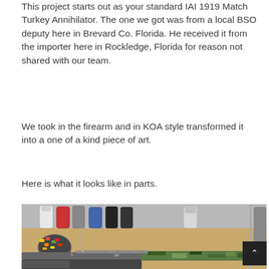This project starts out as your standard IAI 1919 Match Turkey Annihilator. The one we got was from a local BSO deputy here in Brevard Co. Florida. He received it from the importer here in Rockledge, Florida for reason not shared with our team.
We took in the firearm and in KOA style transformed it into a one of a kind piece of art.
Here is what it looks like in parts.
[Figure (photo): Overhead photo of a workbench showing firearm parts, paint bottles (red, grey, blue, black), a bowl with colorful items, and a camouflage-patterned rifle component.]